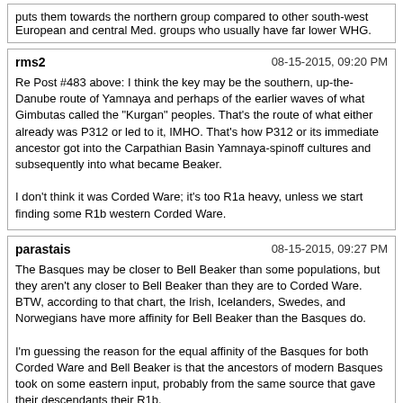puts them towards the northern group compared to other south-west European and central Med. groups who usually have far lower WHG.
rms2 | 08-15-2015, 09:20 PM
Re Post #483 above: I think the key may be the southern, up-the-Danube route of Yamnaya and perhaps of the earlier waves of what Gimbutas called the "Kurgan" peoples. That's the route of what either already was P312 or led to it, IMHO. That's how P312 or its immediate ancestor got into the Carpathian Basin Yamnaya-spinoff cultures and subsequently into what became Beaker.

I don't think it was Corded Ware; it's too R1a heavy, unless we start finding some R1b western Corded Ware.
parastais | 08-15-2015, 09:27 PM
The Basques may be closer to Bell Beaker than some populations, but they aren't any closer to Bell Beaker than they are to Corded Ware. BTW, according to that chart, the Irish, Icelanders, Swedes, and Norwegians have more affinity for Bell Beaker than the Basques do.

I'm guessing the reason for the equal affinity of the Basques for both Corded Ware and Bell Beaker is that the ancestors of modern Basques took on some eastern input, probably from the same source that gave their descendants their R1b.
According to chart Lithuanians are the most BB of modern folk...
But the question is not why Basques have CW affinity at the level of BB. Question is why they have only as much. Because all other folks of Europe have more affinity to CW.
alan | 08-15-2015, 09:28 PM
As an aside, it seems to me that the Basques seem to be like middle Neolithic groups where the farmers had seen mass absorbtion of local hunter genes